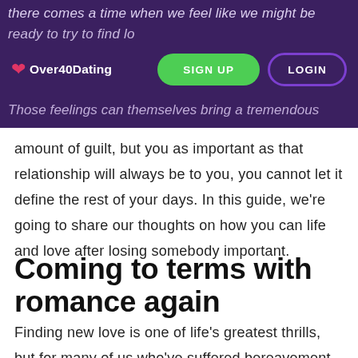there comes a time when we feel like we might be ready to try to find lo... Those feelings can themselves bring a tremendous
[Figure (logo): Over40Dating logo with heart icon, white text on purple background, with SIGN UP (green) and LOGIN (purple outline) buttons]
amount of guilt, but you as important as that relationship will always be to you, you cannot let it define the rest of your days. In this guide, we're going to share our thoughts on how you can life and love after losing somebody important.
Coming to terms with romance again
Finding new love is one of life's greatest thrills, but for many of us who've suffered bereavement, it can be an